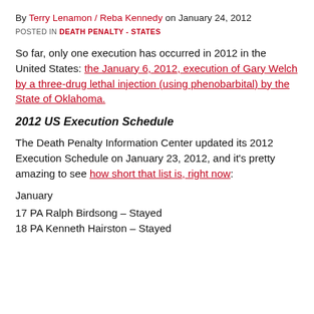By Terry Lenamon / Reba Kennedy on January 24, 2012
POSTED IN DEATH PENALTY - STATES
So far, only one execution has occurred in 2012 in the United States: the January 6, 2012, execution of Gary Welch by a three-drug lethal injection (using phenobarbital) by the State of Oklahoma.
2012 US Execution Schedule
The Death Penalty Information Center updated its 2012 Execution Schedule on January 23, 2012, and it's pretty amazing to see how short that list is, right now:
January
17 PA Ralph Birdsong – Stayed
18 PA Kenneth Hairston – Stayed